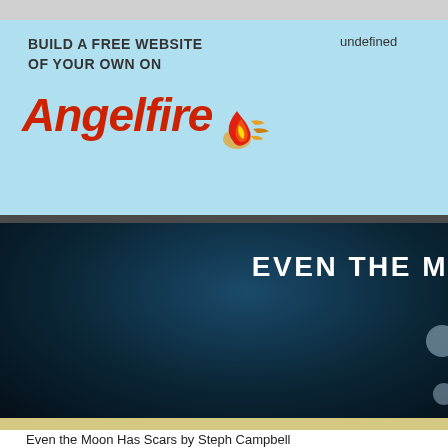[Figure (screenshot): Top gray browser bar]
[Figure (screenshot): Angelfire advertisement banner with light blue background, text 'BUILD A FREE WEBSITE OF YOUR OWN ON' and Angelfire logo in red italic font with flame graphic, and 'undefined' text in top right]
[Figure (screenshot): Dark blue hero section with text 'EVEN THE M' in bold white uppercase letters on right side, with two small decorative translucent circles on right edge]
Even the Moon Has Scars by Steph Campbell